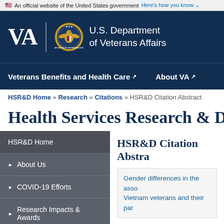An official website of the United States government Here's how you know
[Figure (logo): U.S. Department of Veterans Affairs logo with VA text, seal, and department name]
Veterans Benefits and Health Care | About VA
HSR&D Home » Research » Citations » HSR&D Citation Abstract
Health Services Research & Deve
HSR&D Home
About Us
COVID-19 Efforts
Research Impacts & Awards
Research Topics
Career Development Program
Centers and Research Networks
HSR&D Citation Abstra
Gender differences in the asso Vietnam veterans and their par